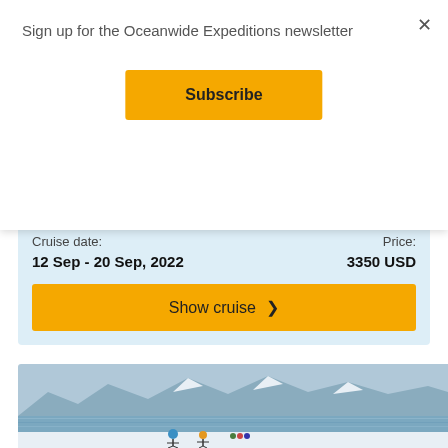Sign up for the Oceanwide Expeditions newsletter
×
Subscribe
Cruise date:
12 Sep - 20 Sep, 2022
Price:
3350 USD
Show cruise >
[Figure (photo): Arctic landscape with snow-covered mountains reflected in calm water, people skiing in the foreground]